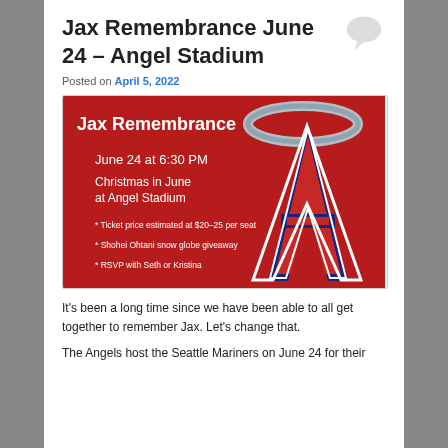Jax Remembrance June 24 – Angel Stadium
Posted on April 5, 2022
[Figure (infographic): Event flyer for Jax Remembrance on red background with LA Angels logo. Text: Jax Remembrance, June 24 at 6:30 PM, Christmas in June at Angel Stadium, * Ticket price estimated at $20-25 per seat, * Shohei Ohtani snow globe giveaway, * RSVP with Seth or Kristina]
It's been a long time since we have been able to all get together to remember Jax. Let's change that.
The Angels host the Seattle Mariners on June 24 for their